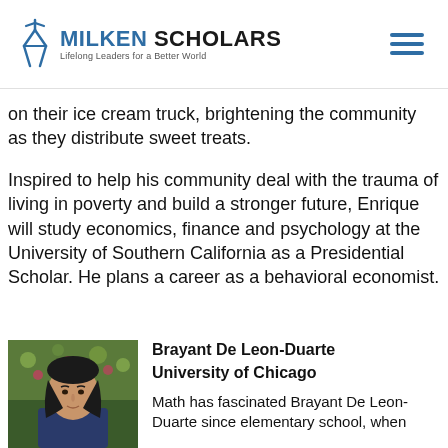[Figure (logo): Milken Scholars logo with figure icon and tagline 'Lifelong Leaders for a Better World']
on their ice cream truck, brightening the community as they distribute sweet treats.
Inspired to help his community deal with the trauma of living in poverty and build a stronger future, Enrique will study economics, finance and psychology at the University of Southern California as a Presidential Scholar. He plans a career as a behavioral economist.
[Figure (photo): Headshot of Brayant De Leon-Duarte, a young man with long dark hair in front of flowering plants]
Brayant De Leon-Duarte
University of Chicago

Math has fascinated Brayant De Leon-Duarte since elementary school, when